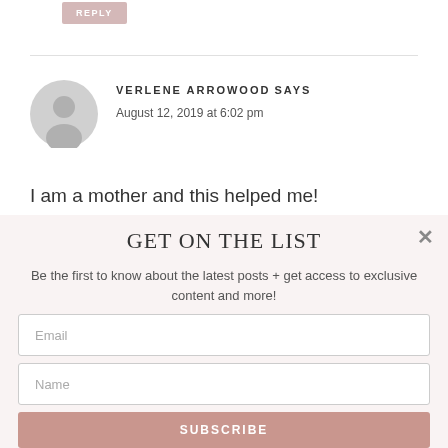REPLY
VERLENE ARROWOOD SAYS
August 12, 2019 at 6:02 pm
I am a mother and this helped me!
GET ON THE LIST
Be the first to know about the latest posts + get access to exclusive content and more!
Email
Name
SUBSCRIBE